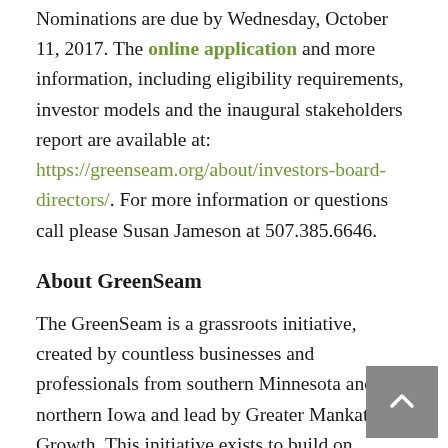Nominations are due by Wednesday, October 11, 2017. The online application and more information, including eligibility requirements, investor models and the inaugural stakeholders report are available at: https://greenseam.org/about/investors-board-directors/. For more information or questions call please Susan Jameson at 507.385.6646.
About GreenSeam
The GreenSeam is a grassroots initiative, created by countless businesses and professionals from southern Minnesota and northern Iowa and lead by Greater Mankato Growth. This initiative exists to build on existing ag business prominence maximizing a growing economic marketplace in order to be the premier ag business epicenter in the Midwest.